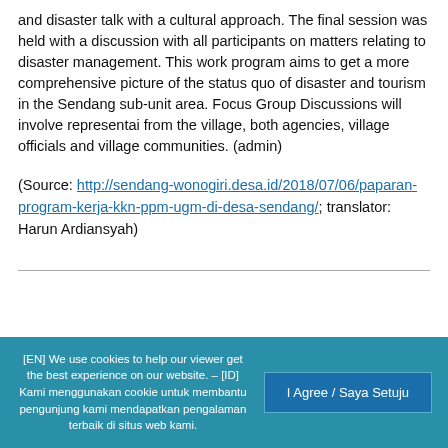and disaster talk with a cultural approach. The final session was held with a discussion with all participants on matters relating to disaster management. This work program aims to get a more comprehensive picture of the status quo of disaster and tourism in the Sendang sub-unit area. Focus Group Discussions will involve representai from the village, both agencies, village officials and village communities. (admin)
(Source: http://sendang-wonogiri.desa.id/2018/07/06/paparan-program-kerja-kkn-ppm-ugm-di-desa-sendang/; translator: Harun Ardiansyah)
[EN] We use cookies to help our viewer get the best experience on our website. – [ID] Kami menggunakan cookie untuk membantu pengunjung kami mendapatkan pengalaman terbaik di situs web kami.
I Agree / Saya Setuju